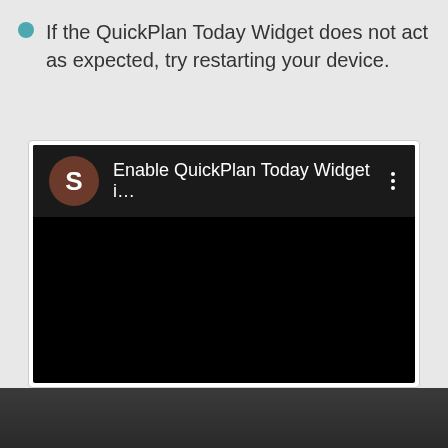If the QuickPlan Today Widget does not act as expected, try restarting your device.
[Figure (screenshot): Screenshot of an Android notification or settings screen showing 'Enable QuickPlan Today Widget i...' with a brown 'S' avatar icon on a black background, with a three-dot menu icon on the right.]